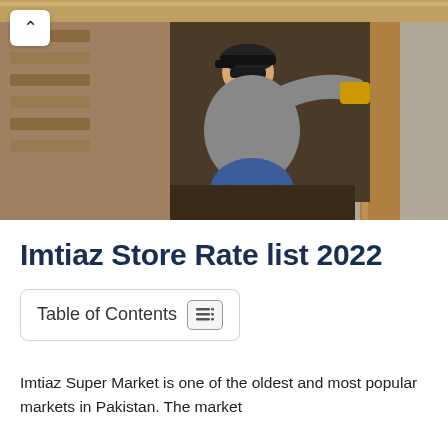[Figure (photo): A man wearing a gray long-sleeve shirt, dark cap, and sunglasses, crouching under a wooden structure and using a power drill tool near wooden posts. Sandy ground visible.]
Imtiaz Store Rate list 2022
Table of Contents
Imtiaz Super Market is one of the oldest and most popular markets in Pakistan. The market